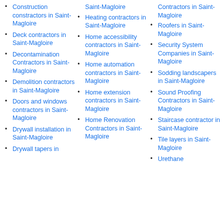Construction constractors in Saint-Magloire
Deck contractors in Saint-Magloire
Decontamination Contractors in Saint-Magloire
Demolition contractors in Saint-Magloire
Doors and windows contractors in Saint-Magloire
Drywall installation in Saint-Magloire
Drywall tapers in
Saint-Magloire
Heating contractors in Saint-Magloire
Home accessibility contractors in Saint-Magloire
Home automation contractors in Saint-Magloire
Home extension contractors in Saint-Magloire
Home Renovation Contractors in Saint-Magloire
Contractors in Saint-Magloire
Roofers in Saint-Magloire
Security System Companies in Saint-Magloire
Sodding landscapers in Saint-Magloire
Sound Proofing Contractors in Saint-Magloire
Staircase contractor in Saint-Magloire
Tile layers in Saint-Magloire
Urethane